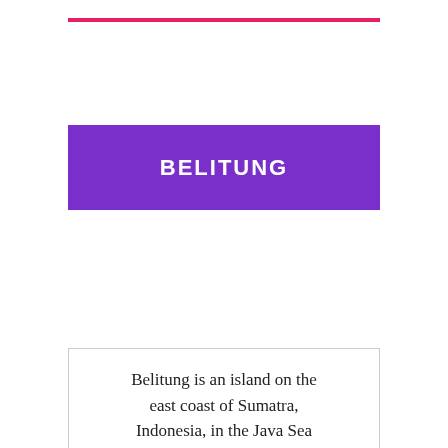BELITUNG
Belitung is an island on the east coast of Sumatra, Indonesia, in the Java Sea